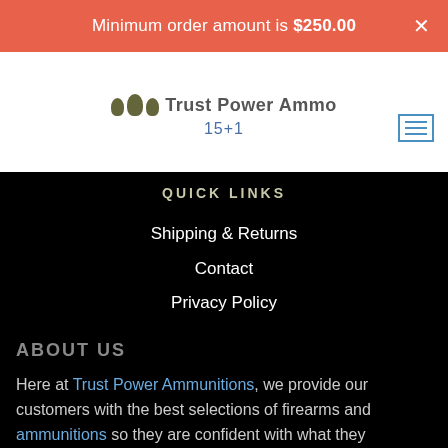Minimum order amount is $250.00
[Figure (logo): Trust Power Ammo logo with bullet shapes and text]
15+1
QUICK LINKS
Shipping & Returns
Contact
Privacy Policy
ABOUT US
Here at Trust Power Ammunitions, we provide our customers with the best selections of firearms and ammunitions so they are confident with what they